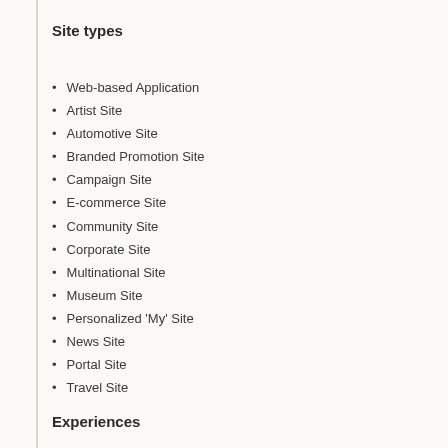Site types
Web-based Application
Artist Site
Automotive Site
Branded Promotion Site
Campaign Site
E-commerce Site
Community Site
Corporate Site
Multinational Site
Museum Site
Personalized 'My' Site
News Site
Portal Site
Travel Site
Experiences